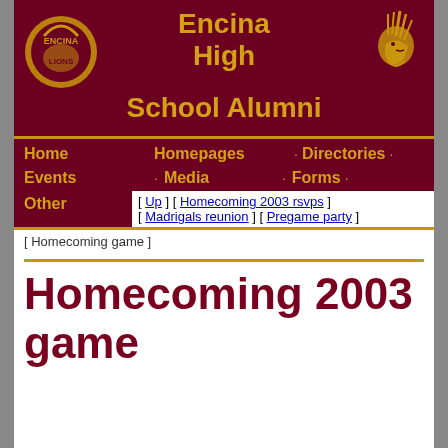[Figure (logo): Encina High School Alumni banner with two mascot logos (bulldog circular logo on left, Native American chief profile on right) on dark maroon background with gold text reading 'Encina High School Alumni']
Home  Homepages  Directories  Events  Media  Forms  Other
[ Up ] [ Homecoming 2003 rsvps ] [ Madrigals reunion ] [ Pregame party ] [ Homecoming game ]
Homecoming 2003 game